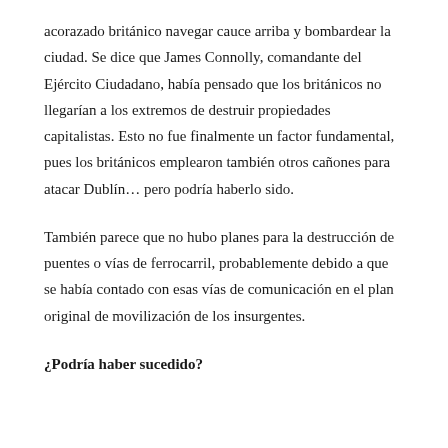acorazado británico navegar cauce arriba y bombardear la ciudad. Se dice que James Connolly, comandante del Ejército Ciudadano, había pensado que los británicos no llegarían a los extremos de destruir propiedades capitalistas. Esto no fue finalmente un factor fundamental, pues los británicos emplearon también otros cañones para atacar Dublín… pero podría haberlo sido.
También parece que no hubo planes para la destrucción de puentes o vías de ferrocarril, probablemente debido a que se había contado con esas vías de comunicación en el plan original de movilización de los insurgentes.
¿Podría haber sucedido?